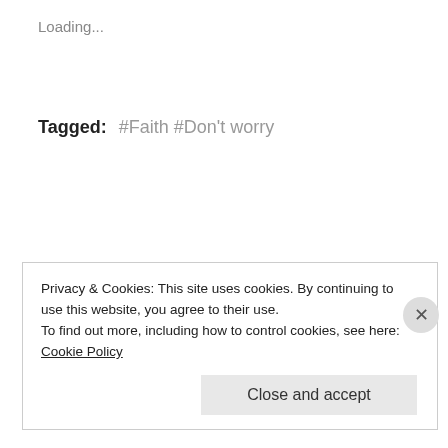Loading...
Tagged: #Faith #Don't worry
Published by P@rth...
View all posts by P@rth...
[Figure (illustration): Purple circular avatar with white letter P]
Privacy & Cookies: This site uses cookies. By continuing to use this website, you agree to their use.
To find out more, including how to control cookies, see here: Cookie Policy
Close and accept